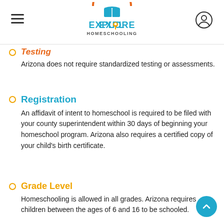Explore Homeschooling
Testing
Arizona does not require standardized testing or assessments.
Registration
An affidavit of intent to homeschool is required to be filed with your county superintendent within 30 days of beginning your homeschool program. Arizona also requires a certified copy of your child's birth certificate.
Grade Level
Homeschooling is allowed in all grades. Arizona requires children between the ages of 6 and 16 to be schooled.